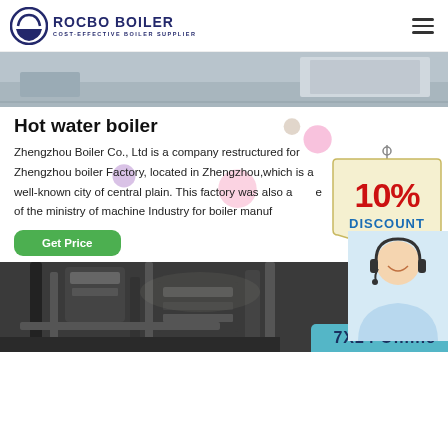ROCBO BOILER — COST-EFFECTIVE BOILER SUPPLIER
[Figure (photo): Top edge of a photo showing an industrial/office environment, partially cropped]
Hot water boiler
Zhengzhou Boiler Co., Ltd is a company restructured for Zhengzhou boiler Factory, located in Zhengzhou,which is a well-known city of central plain. This factory was also a[...] of the ministry of machine Industry for boiler manufa[...]
[Figure (illustration): 10% DISCOUNT promotional badge/sticker]
[Figure (photo): Customer service representative with headset smiling]
[Figure (photo): Industrial boiler/pipe machinery photo]
7X24 Online